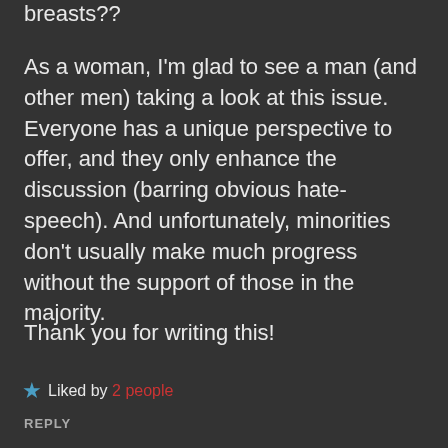breasts??
As a woman, I'm glad to see a man (and other men) taking a look at this issue. Everyone has a unique perspective to offer, and they only enhance the discussion (barring obvious hate-speech). And unfortunately, minorities don't usually make much progress without the support of those in the majority.
Thank you for writing this!
★ Liked by 2 people
REPLY
[Figure (illustration): User avatar with paw print logo in red and white, circular shape]
hundstrasse